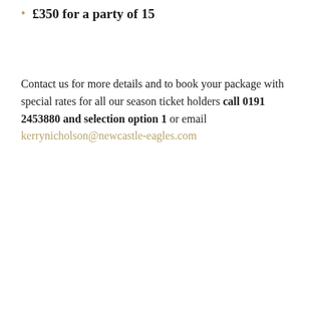£350 for a party of 15
Contact us for more details and to book your package with special rates for all our season ticket holders call 0191 2453880 and selection option 1 or email kerrynicholson@newcastle-eagles.com